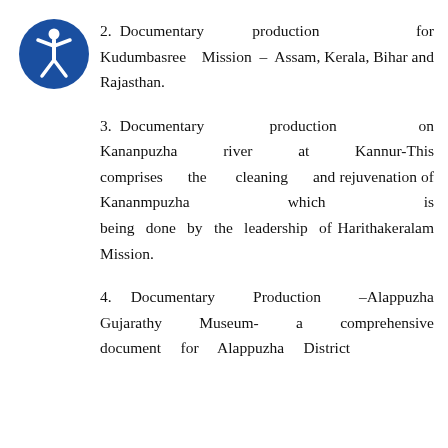[Figure (logo): Accessibility icon: a human figure with arms outstretched inside a blue circle, representing an accessibility/disability symbol.]
2. Documentary production for Kudumbasree Mission – Assam, Kerala, Bihar and Rajasthan.
3. Documentary production on Kananpuzha river at Kannur-This comprises the cleaning and rejuvenation of Kananmpuzha which is being done by the leadership of Harithakeralam Mission.
4. Documentary Production –Alappuzha Gujarathy Museum- a comprehensive document for Alappuzha District